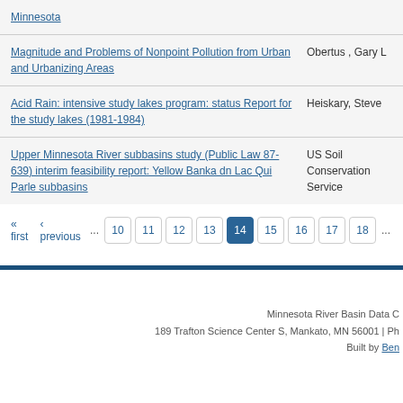Minnesota
Magnitude and Problems of Nonpoint Pollution from Urban and Urbanizing Areas — Obertus , Gary L
Acid Rain: intensive study lakes program: status Report for the study lakes (1981-1984) — Heiskary, Steve
Upper Minnesota River subbasins study (Public Law 87-639) interim feasibility report: Yellow Banka dn Lac Qui Parle subbasins — US Soil Conservation Service
« first ‹ previous ... 10 11 12 13 14 15 16 17 18 ...
Minnesota River Basin Data C 189 Trafton Science Center S, Mankato, MN 56001 | Ph Built by Ben